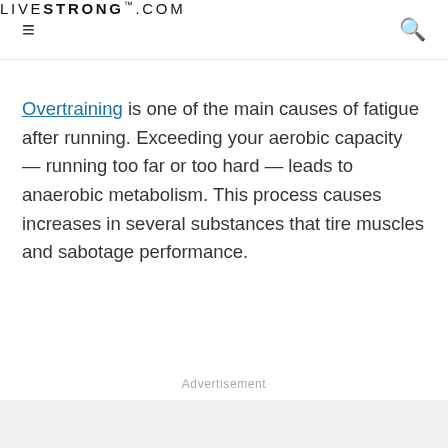LIVESTRONG.COM
Overtraining is one of the main causes of fatigue after running. Exceeding your aerobic capacity — running too far or too hard — leads to anaerobic metabolism. This process causes increases in several substances that tire muscles and sabotage performance.
Advertisement